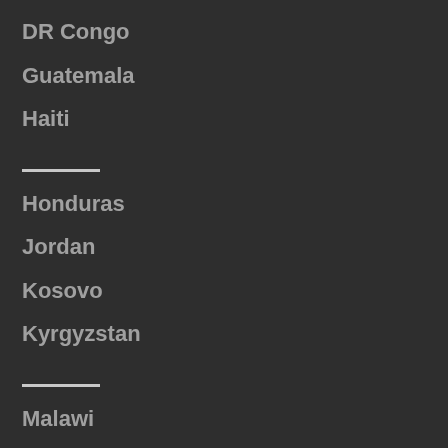DR Congo
Guatemala
Haiti
Honduras
Jordan
Kosovo
Kyrgyzstan
Malawi
Nigeria
Nicaragua
Pakistan